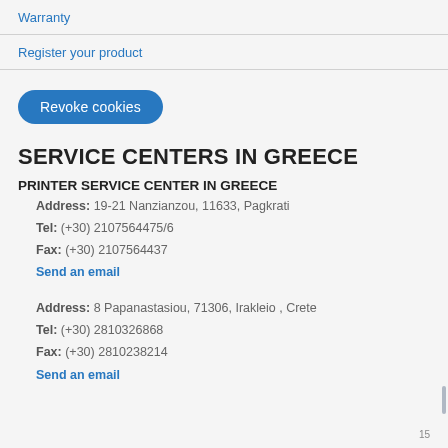Warranty
Register your product
Revoke cookies
SERVICE CENTERS IN GREECE
PRINTER SERVICE CENTER IN GREECE
Address: 19-21 Nanzianzou, 11633, Pagkrati
Tel: (+30) 2107564475/6
Fax: (+30) 2107564437
Send an email
Address: 8 Papanastasiou, 71306, Irakleio , Crete
Tel: (+30) 2810326868
Fax: (+30) 2810238214
Send an email